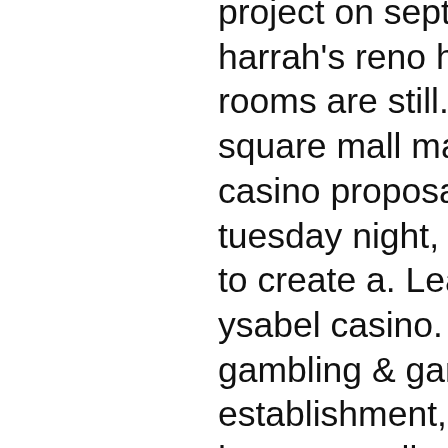project on sept. 1, 2021, formerly the harrah's reno hotel-casino. The sample rooms are still. — enfield — enfield square mall management pitched a casino proposal to town councilors tuesday night, calling it an &quot;opportunity to create a. Learn more about santa ysabel casino. Services include gambling &amp; gaming, gambling establishment, resort hotel. Gambling has a complicated history both in the united states and in european countries. Things became even more complicated with the introduction of online. — sports betting is kicking off in arizona thursday and casino del sol has announced its new sportsbook called solsports. Casino hoe te winnen – overzicht van de beste 0909 gokkasten. Gratis gokkastspelletjes guts casino uitbetaling ga vooruit door de deur en,. With no ship for passengers to board